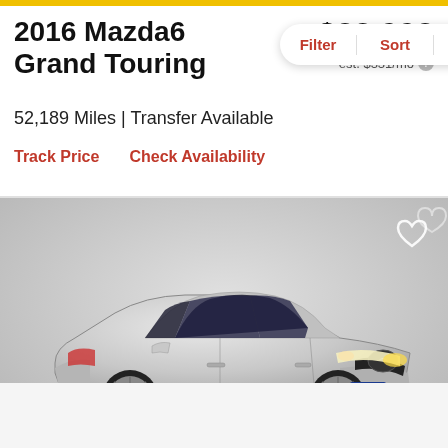2016 Mazda6 Grand Touring
$22,998
est. $331/mo
52,189 Miles | Transfer Available
Track Price   Check Availability
[Figure (photo): Silver 2016 Mazda6 sedan photographed in a studio setting with grey background, headlights on, CarMax dealer badge visible on license plate area. Heart/save icon in upper right corner.]